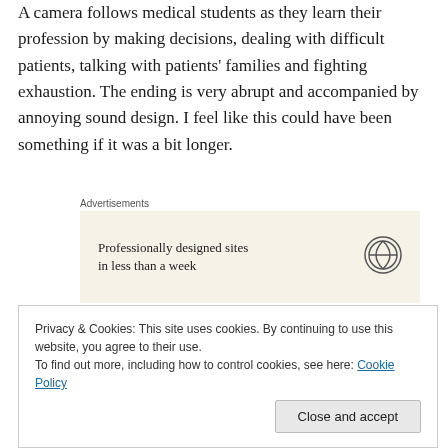A camera follows medical students as they learn their profession by making decisions, dealing with difficult patients, talking with patients' families and fighting exhaustion. The ending is very abrupt and accompanied by annoying sound design. I feel like this could have been something if it was a bit longer.
[Figure (other): WordPress advertisement banner: 'Professionally designed sites in less than a week' with WordPress logo]
'Each one of you will have their cemetery, that's for sure.'
(partially visible truncated text below)
Privacy & Cookies: This site uses cookies. By continuing to use this website, you agree to their use. To find out more, including how to control cookies, see here: Cookie Policy